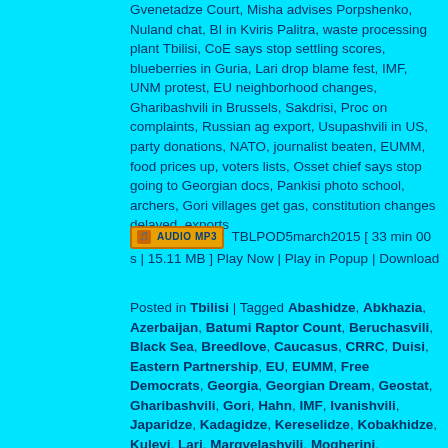Gvenetadze Court, Misha advises Porpshenko, Nuland chat, BI in Kviris Palitra, waste processing plant Tbilisi, CoE says stop settling scores, blueberries in Guria, Lari drop blame fest, IMF, UNM protest, EU neighborhood changes, Gharibashvili in Brussels, Sakdrisi, Proc on complaints, Russian ag export, Usupashvili in US, party donations, NATO, journalist beaten, EUMM, food prices up, voters lists, Osset chief says stop going to Georgian docs, Pankisi photo school, archers, Gori villages get gas, constitution changes delayed, exports
TBLPOD5march2015 [ 33 min 00 s | 15.11 MB ] Play Now | Play in Popup | Download
Posted in Tbilisi | Tagged Abashidze, Abkhazia, Azerbaijan, Batumi Raptor Count, Beruchasvili, Black Sea, Breedlove, Caucasus, CRRC, Duisi, Eastern Partnership, EU, EUMM, Free Democrats, Georgia, Georgian Dream, Geostat, Gharibashvili, Gori, Hahn, IMF, Ivanishvili, Japaridze, Kadagidze, Kereselidze, Kobakhidze, Kulevi, Lari, Margvelashvili, Mogherini, Nadareishvili, NATO, Pankisi Gorge, Poti, RFE/RL, RMG Gold, Rosselkhoznadzor, Russia, Rustaveli, Saakashvili, Sakdrisi, South Ossetia, Tbilisi, TI Georgia, Tibilov, Ukraine, UNM, Usupashvili | 2